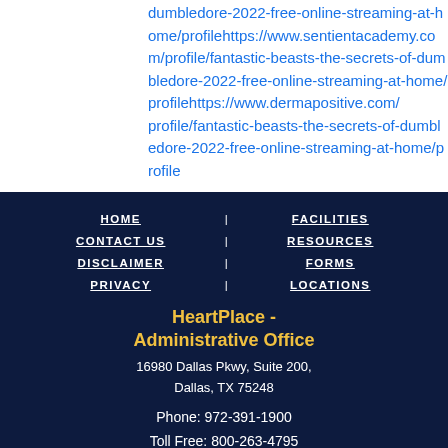dumbledore-2022-free-online-streaming-at-home/profilehttps://www.sentientacademy.com/profile/fantastic-beasts-the-secrets-of-dumbledore-2022-free-online-streaming-at-home/profilehttps://www.dermapositive.com/profile/fantastic-beasts-the-secrets-of-dumbledore-2022-free-online-streaming-at-home/profile
HOME | FACILITIES | CONTACT US | RESOURCES | DISCLAIMER | FORMS | PRIVACY | LOCATIONS
HeartPlace - Administrative Office
16980 Dallas Pkwy, Suite 200, Dallas, TX 75248
Phone: 972-391-1900
Toll Free: 800-263-4795